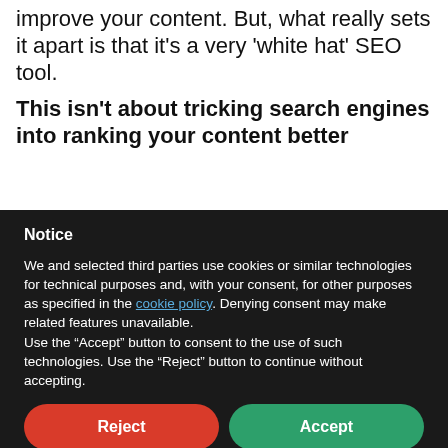improve your content. But, what really sets it apart is that it's a very 'white hat' SEO tool.
This isn't about tricking search engines into ranking your content better
Notice
We and selected third parties use cookies or similar technologies for technical purposes and, with your consent, for other purposes as specified in the cookie policy. Denying consent may make related features unavailable.
Use the "Accept" button to consent to the use of such technologies. Use the "Reject" button to continue without accepting.
Reject
Accept
Learn more and customize